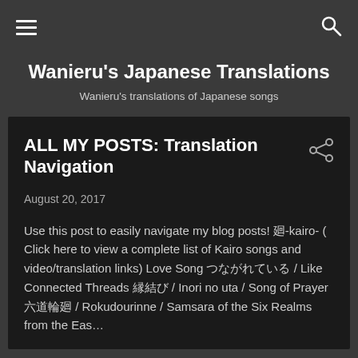Wanieru's Japanese Translations — Wanieru's translations of Japanese songs
ALL MY POSTS: Translation Navigation
August 20, 2017
Use this post to easily navigate my blog posts! 廻-kairo- (Click here to view a complete list of Kairo songs and video/translation links) Love Song つながれている / Like Connected Threads 縁結び / Inori no uta / Song of Prayer 六道輪廻 / Rokudourinne / Samsara of the Six Realms from the Eas …